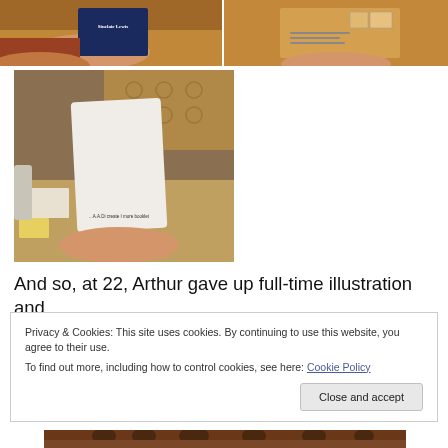[Figure (photo): Two photos side by side: left shows hands holding a dark blue book with 'Sinclair Lewis' on the cover, right shows hands holding an envelope with text/stamps on it, warm brown tones.]
[Figure (photo): A hand holding a white card/booklet with small text at the bottom reading '...A.A.Di create I more booklet', on a cluttered warm-toned desk background.]
And so, at 22, Arthur gave up full-time illustration and
Privacy & Cookies: This site uses cookies. By continuing to use this website, you agree to their use.
To find out more, including how to control cookies, see here: Cookie Policy
Close and accept
[Figure (photo): Bottom strip of a vintage photo showing a group of people, warm brown tones.]